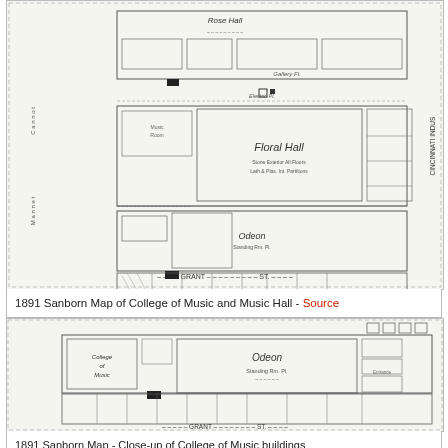[Figure (map): 1891 Sanborn Map showing College of Music and Music Hall in Cincinnati. A detailed architectural floor plan map with streets labeled including Grant St and Cincinnati Industrial area. Shows Floral Hall, Odeon, Music Hall and surrounding buildings.]
1891 Sanborn Map of College of Music and Music Hall - Source
[Figure (map): Close-up of 1891 Sanborn Map showing College of Music buildings including Odeon hall, College of Music label, and Grant Street. More detailed view of the same block shown in the upper map.]
1891 Sanborn Map - Close-up of College of Music buildings